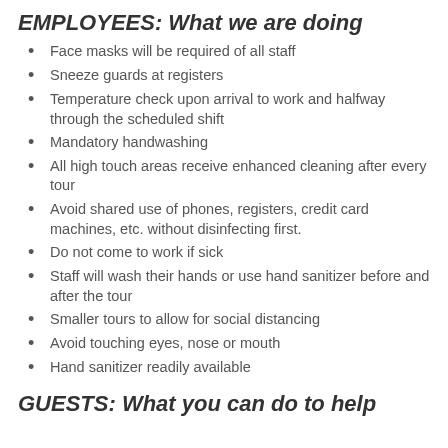EMPLOYEES: What we are doing
Face masks will be required of all staff
Sneeze guards at registers
Temperature check upon arrival to work and halfway through the scheduled shift
Mandatory handwashing
All high touch areas receive enhanced cleaning after every tour
Avoid shared use of phones, registers, credit card machines, etc. without disinfecting first.
Do not come to work if sick
Staff will wash their hands or use hand sanitizer before and after the tour
Smaller tours to allow for social distancing
Avoid touching eyes, nose or mouth
Hand sanitizer readily available
GUESTS: What you can do to help